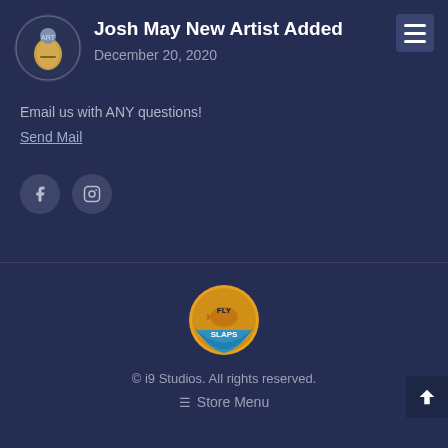Josh May New Artist Added
December 20, 2020
Email us with ANY questions!
Send Mail
[Figure (illustration): Two circular social media buttons: Facebook (f) and Instagram (camera) icons on dark circular backgrounds]
[Figure (logo): Fly Slaps circular logo with fish and yellow/blue colors]
© i9 Studios. All rights reserved.
Store Menu